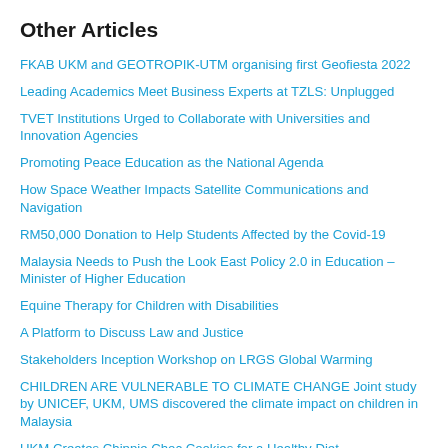Other Articles
FKAB UKM and GEOTROPIK-UTM organising first Geofiesta 2022
Leading Academics Meet Business Experts at TZLS: Unplugged
TVET Institutions Urged to Collaborate with Universities and Innovation Agencies
Promoting Peace Education as the National Agenda
How Space Weather Impacts Satellite Communications and Navigation
RM50,000 Donation to Help Students Affected by the Covid-19
Malaysia Needs to Push the Look East Policy 2.0 in Education – Minister of Higher Education
Equine Therapy for Children with Disabilities
A Platform to Discuss Law and Justice
Stakeholders Inception Workshop on LRGS Global Warming
CHILDREN ARE VULNERABLE TO CLIMATE CHANGE Joint study by UNICEF, UKM, UMS discovered the climate impact on children in Malaysia
UKM Creates Chippie Choc Cookies for a Healthy Diet
UKM Doctoral Gold Award Receiver Develops Ulam Raja Supplement to Prevent Dimentia
Media Experts Come Together to Discuss Challenges, Issues in Pandemic World